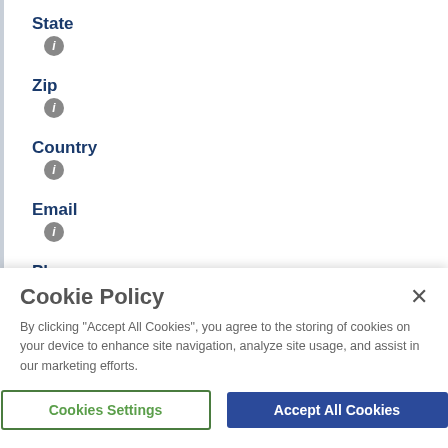State
Zip
Country
Email
Phone
Cookie Policy
By clicking "Accept All Cookies", you agree to the storing of cookies on your device to enhance site navigation, analyze site usage, and assist in our marketing efforts.
Cookies Settings
Accept All Cookies